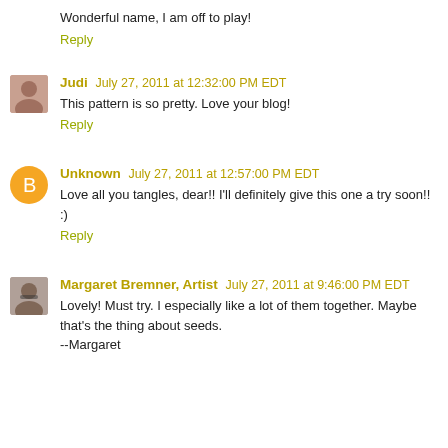Wonderful name, I am off to play!
Reply
Judi July 27, 2011 at 12:32:00 PM EDT
This pattern is so pretty. Love your blog!
Reply
Unknown July 27, 2011 at 12:57:00 PM EDT
Love all you tangles, dear!! I'll definitely give this one a try soon!! :)
Reply
Margaret Bremner, Artist July 27, 2011 at 9:46:00 PM EDT
Lovely! Must try. I especially like a lot of them together. Maybe that's the thing about seeds.
--Margaret